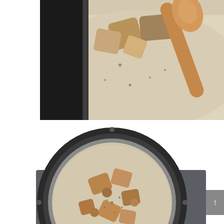[Figure (photo): Close-up overhead view of creamy potato soup in a slow cooker with chunks of steak/potato and a wooden spoon]
[Figure (photo): Overhead view of slow cooker with creamy soup containing pieces of steak and potato]
Slow Cooker Steak and Potato Soup